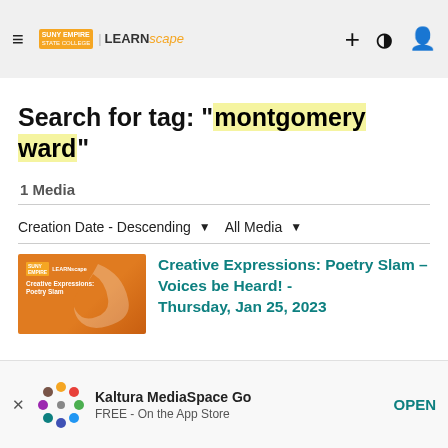SUNY EMPIRE | LEARNscope
Search for tag: "montgomery ward"
1 Media
Creation Date - Descending   All Media
Creative Expressions: Poetry Slam – Voices be Heard! - Thursday, Jan 25, 2023
Kaltura MediaSpace Go
FREE - On the App Store